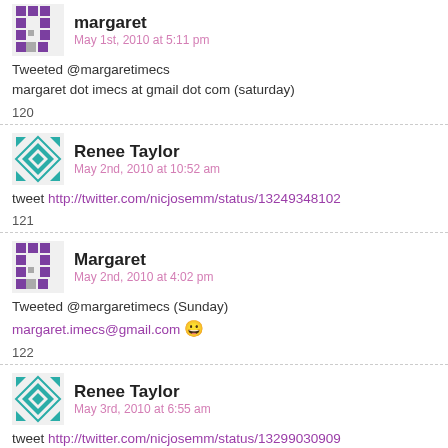Tweeted @margaretimecs
magaret dot imecs at gmail dot com (saturday)
120
Renee Taylor
May 2nd, 2010 at 10:52 am
tweet http://twitter.com/nicjosemm/status/13249348102
121
Margaret
May 2nd, 2010 at 4:02 pm
Tweeted @margaretimecs (Sunday)
margaret.imecs@gmail.com 😀
122
Renee Taylor
May 3rd, 2010 at 6:55 am
tweet http://twitter.com/nicjosemm/status/13299030909
123